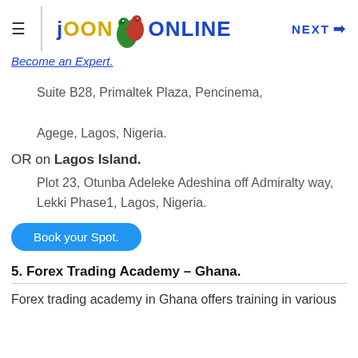JOON ONLINE   NEXT →
Become an Expert.
Suite B28, Primaltek Plaza, Pencinema,
Agege, Lagos, Nigeria.
OR on Lagos Island.
Plot 23, Otunba Adeleke Adeshina off Admiralty way, Lekki Phase1, Lagos, Nigeria.
Book your Spot.
5. Forex Trading Academy – Ghana.
Forex trading academy in Ghana offers training in various